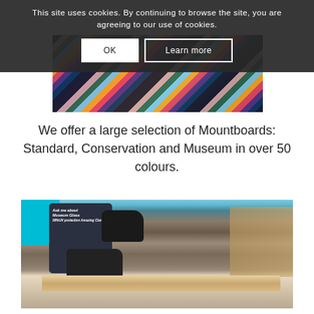This site uses cookies. By continuing to browse the site, you are agreeing to our use of cookies.
OK
Learn more
[Figure (photo): Diagonal color stripes of mountboard colors arranged in a fan/stack pattern]
We offer a large selection of Mountboards: Standard, Conservation and Museum in over 50 colours.
[Figure (photo): A person wearing a dark apron reading 'Ask me about Museum Glass, 99% UV protection, Amazing Clarity' and a cyan shirt, wearing black gloves, working on cutting or assembling a picture frame on a workbench]